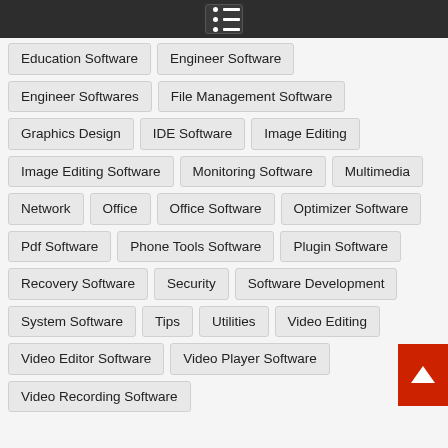[Figure (screenshot): Dark top navigation bar with a menu icon (list/hamburger icon with dots and lines)]
Education Software
Engineer Software
Engineer Softwares
File Management Software
Graphics Design
IDE Software
Image Editing
Image Editing Software
Monitoring Software
Multimedia
Network
Office
Office Software
Optimizer Software
Pdf Software
Phone Tools Software
Plugin Software
Recovery Software
Security
Software Development
System Software
Tips
Utilities
Video Editing
Video Editor Software
Video Player Software
Video Recording Software